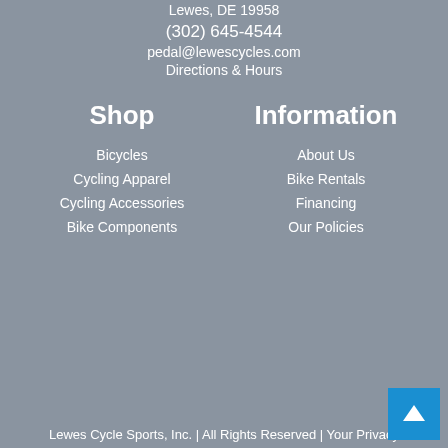Lewes, DE 19958
(302) 645-4544
pedal@lewescycles.com
Directions & Hours
Shop
Bicycles
Cycling Apparel
Cycling Accessories
Bike Components
Information
About Us
Bike Rentals
Financing
Our Policies
Lewes Cycle Sports, Inc. | All Rights Reserved | Your Privacy